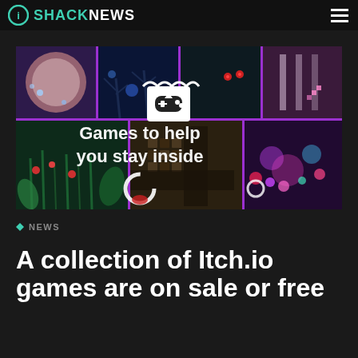SHACKNEWS
[Figure (illustration): Promotional banner image for itch.io 'Games to help you stay inside' collection, featuring a collage of various game screenshots with purple borders, an itch.io store icon (white shopping bag with game controller), and white text reading 'Games to help you stay inside']
NEWS
A collection of Itch.io games are on sale or free